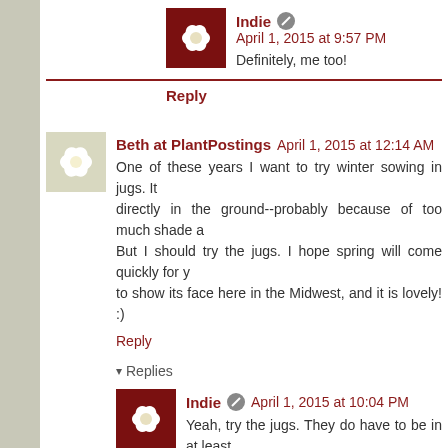[Figure (photo): Avatar of Indie commenter - dark red background with white flower illustration]
Indie  April 1, 2015 at 9:57 PM
Definitely, me too!
Reply
[Figure (photo): Avatar of Beth at PlantPostings - white flower on light background]
Beth at PlantPostings  April 1, 2015 at 12:14 AM
One of these years I want to try winter sowing in jugs. It directly in the ground--probably because of too much shade a But I should try the jugs. I hope spring will come quickly for y to show its face here in the Midwest, and it is lovely! :)
Reply
Replies
[Figure (photo): Avatar of Indie commenter - dark red background with white flower illustration]
Indie  April 1, 2015 at 10:04 PM
Yeah, try the jugs. They do have to be in at least found they don't germinate well either if they are in Definitely looking forward to a lovely spring!
Reply